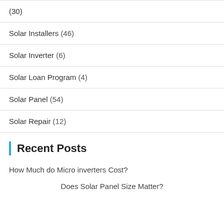(30)
Solar Installers (46)
Solar Inverter (6)
Solar Loan Program (4)
Solar Panel (54)
Solar Repair (12)
Recent Posts
How Much do Micro inverters Cost?
Does Solar Panel Size Matter?